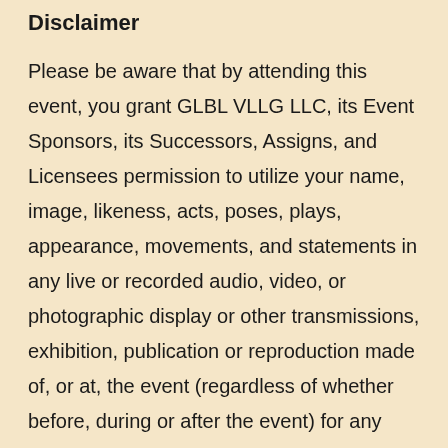Disclaimer
Please be aware that by attending this event, you grant GLBL VLLG LLC, its Event Sponsors, its Successors, Assigns, and Licensees permission to utilize your name, image, likeness, acts, poses, plays, appearance, movements, and statements in any live or recorded audio, video, or photographic display or other transmissions, exhibition, publication or reproduction made of, or at, the event (regardless of whether before, during or after the event) for any purpose, in any manner, in any medium or context now known or hereafter developed, without further authorization from, or